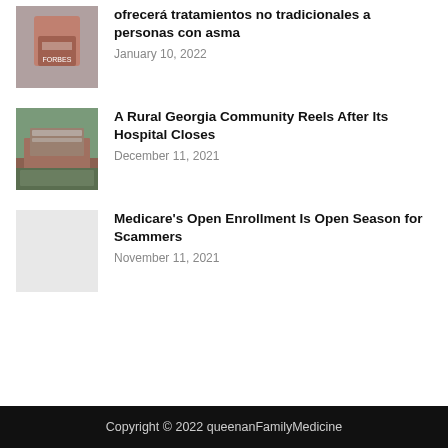[Figure (photo): Person wearing a red Forbes shirt, partial view]
ofrecerá tratamientos no tradicionales a personas con asma
January 10, 2022
[Figure (photo): Exterior of a rural hospital building with a sign]
A Rural Georgia Community Reels After Its Hospital Closes
December 11, 2021
[Figure (photo): No image thumbnail shown]
Medicare's Open Enrollment Is Open Season for Scammers
November 11, 2021
Copyright © 2022 queenanFamilyMedicine